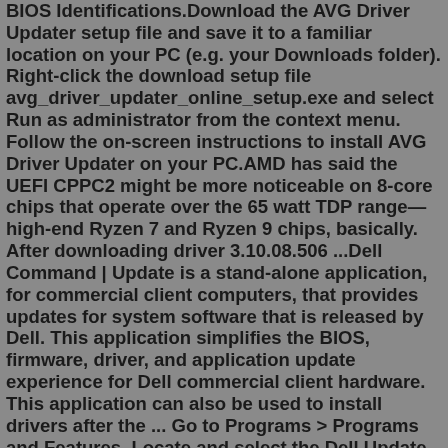BIOS Identifications.Download the AVG Driver Updater setup file and save it to a familiar location on your PC (e.g. your Downloads folder). Right-click the download setup file avg_driver_updater_online_setup.exe and select Run as administrator from the context menu. Follow the on-screen instructions to install AVG Driver Updater on your PC.AMD has said the UEFI CPPC2 might be more noticeable on 8-core chips that operate over the 65 watt TDP range—high-end Ryzen 7 and Ryzen 9 chips, basically. After downloading driver 3.10.08.506 ...Dell Command | Update is a stand-alone application, for commercial client computers, that provides updates for system software that is released by Dell. This application simplifies the BIOS, firmware, driver, and application update experience for Dell commercial client hardware. This application can also be used to install drivers after the ... Go to Programs > Programs and Features. Locate and select the Dell Update app from the list of the installed app. Click on Uninstall and then click Yes when